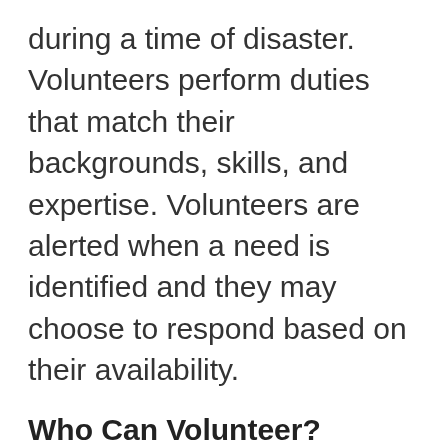during a time of disaster. Volunteers perform duties that match their backgrounds, skills, and expertise. Volunteers are alerted when a need is identified and they may choose to respond based on their availability.
Who Can Volunteer?
A wide range of licensed medical and/or mental health professionals including: